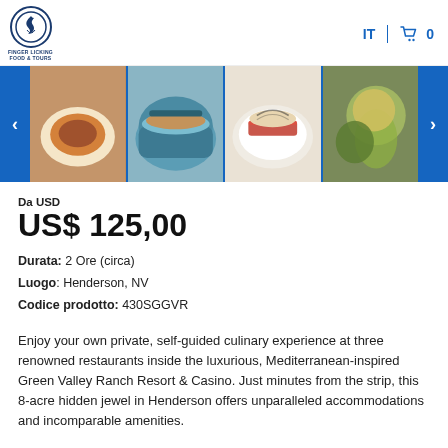FINGER LICKING FOOD & TOURS | IT | Cart 0
[Figure (photo): Food carousel showing four restaurant dishes with left/right navigation arrows on blue background]
Da USD
US$ 125,00
Durata: 2 Ore (circa)
Luogo: Henderson, NV
Codice prodotto: 430SGGVR
Enjoy your own private, self-guided culinary experience at three renowned restaurants inside the luxurious, Mediterranean-inspired Green Valley Ranch Resort & Casino. Just minutes from the strip, this 8-acre hidden jewel in Henderson offers unparalleled accommodations and incomparable amenities.